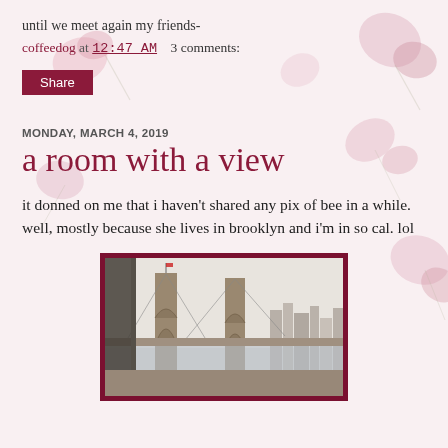until we meet again my friends-
coffeedog at 12:47 AM    3 comments:
Share
MONDAY, MARCH 4, 2019
a room with a view
it donned on me that i haven't shared any pix of bee in a while. well, mostly because she lives in brooklyn and i'm in so cal. lol
[Figure (photo): Photo of the Brooklyn Bridge viewed through a window, with city skyline in background, framed with dark red border]